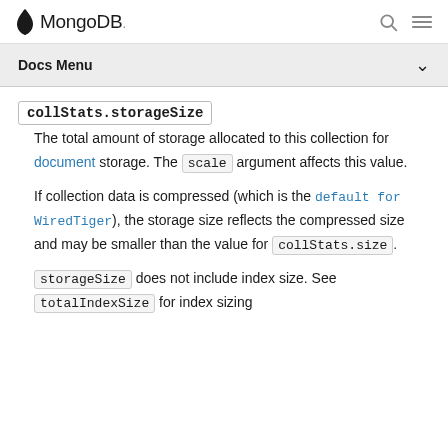MongoDB
collStats.storageSize
The total amount of storage allocated to this collection for document storage. The scale argument affects this value.
If collection data is compressed (which is the default for WiredTiger), the storage size reflects the compressed size and may be smaller than the value for collStats.size.
storageSize does not include index size. See totalIndexSize for index sizing